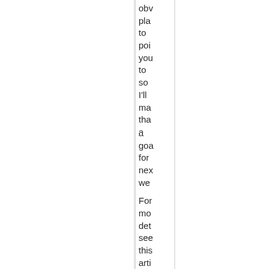obv pla to poi you to so I'll ma tha a goa for nex we For mo det see this arti to